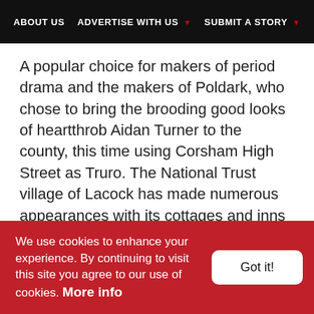ABOUT US | ADVERTISE WITH US ▼ | SUBMIT A STORY ▼
A popular choice for makers of period drama and the makers of Poldark, who chose to bring the brooding good looks of heartthrob Aidan Turner to the county, this time using Corsham High Street as Truro. The National Trust village of Lacock has made numerous appearances with its cottages and inns dating from the 15th century and stunning Lacock Abbey from which many may well recognise the vaulted cloisters in the Harry Potter movies. Lacock has also hosted the stars of Pride and Prejudice, The Other Boleyn Girl, Wolf
We use cookies to enhance your experience. By continuing to visit this site you agree to our use of cookies. More info